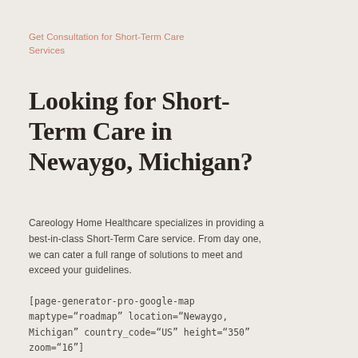Get Consultation for Short-Term Care Services
Looking for Short-Term Care in Newaygo, Michigan?
Careology Home Healthcare specializes in providing a best-in-class Short-Term Care service. From day one, we can cater a full range of solutions to meet and exceed your guidelines.
[page-generator-pro-google-map maptype="roadmap" location="Newaygo, Michigan" country_code="US" height="350" zoom="16"]